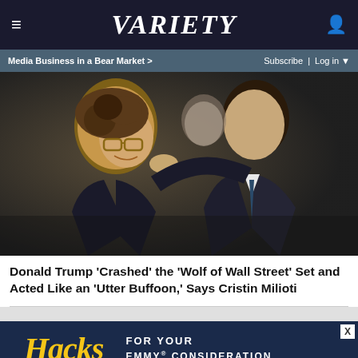≡   VARIETY   👤
Media Business in a Bear Market >   Subscribe | Log in ▼
[Figure (photo): Two men in suits embracing and laughing, scene from 'Wolf of Wall Street' film set]
Donald Trump 'Crashed' the 'Wolf of Wall Street' Set and Acted Like an 'Utter Buffoon,' Says Cristin Milioti
[Figure (other): Advertisement banner for 'Hacks' Emmy consideration with gold script text on dark blue background reading 'Hacks FOR YOUR EMMY® CONSIDERATION']